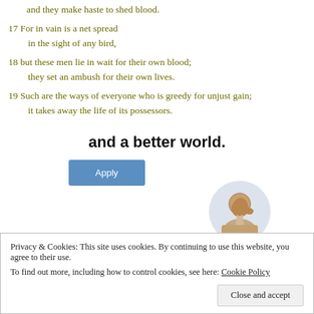and they make haste to shed blood.
17 For in vain is a net spread
   in the sight of any bird,
18 but these men lie in wait for their own blood;
   they set an ambush for their own lives.
19 Such are the ways of everyone who is greedy for unjust gain;
   it takes away the life of its possessors.
and a better world.
[Figure (other): Apply button and circular photo of a man thinking]
Privacy & Cookies: This site uses cookies. By continuing to use this website, you agree to their use.
To find out more, including how to control cookies, see here: Cookie Policy
Close and accept